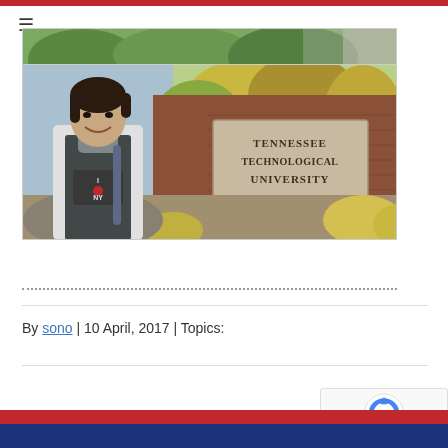[Figure (photo): Two-part photo: top strip shows trees/foliage outdoors, main photo shows a smiling young woman wearing an 'I Love NY' hoodie standing in front of the Tennessee Technological University brick entrance sign with autumn trees in background]
By sono | 10 April, 2017 | Topics: